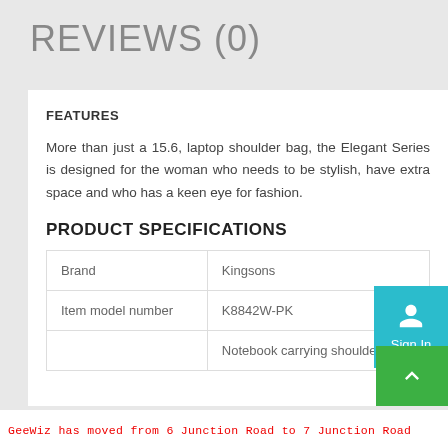REVIEWS (0)
FEATURES
More than just a 15.6, laptop shoulder bag, the Elegant Series is designed for the woman who needs to be stylish, have extra space and who has a keen eye for fashion.
PRODUCT SPECIFICATIONS
| Brand | Kingsons |
| Item model number | K8842W-PK |
|  | Notebook carrying shoulder |
GeeWiz has moved from 6 Junction Road to 7 Junction Road